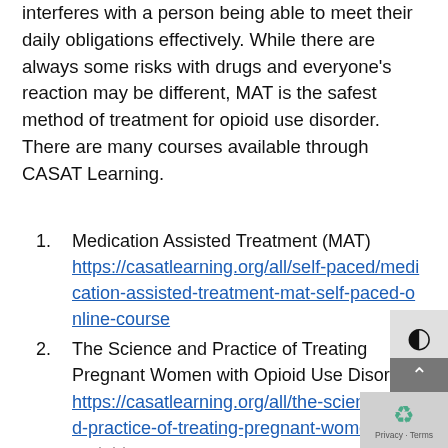interferes with a person being able to meet their daily obligations effectively. While there are always some risks with drugs and everyone's reaction may be different, MAT is the safest method of treatment for opioid use disorder. There are many courses available through CASAT Learning.
1. Medication Assisted Treatment (MAT) https://casatlearning.org/all/self-paced/medication-assisted-treatment-mat-self-paced-online-course
2. The Science and Practice of Treating Pregnant Women with Opioid Use Disorder https://casatlearning.org/all/the-science-and-practice-of-treating-pregnant-women-with-opioid-use-disorder-self-paced-online-course
3. Gambling and Opioid Use Disorder: Intersect...